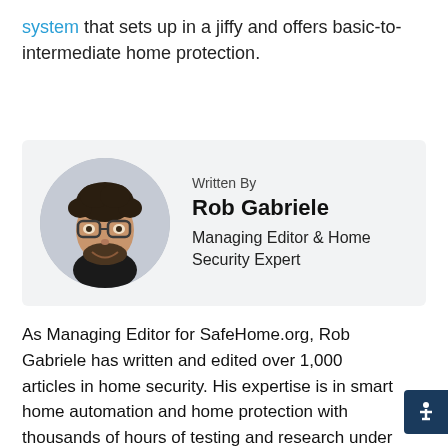system that sets up in a jiffy and offers basic-to-intermediate home protection.
[Figure (photo): Circular headshot photo of Rob Gabriele, a man with curly dark hair, glasses, and a beard, smiling, wearing a black shirt.]
Written By
Rob Gabriele
Managing Editor & Home Security Expert
As Managing Editor for SafeHome.org, Rob Gabriele has written and edited over 1,000 articles in home security. His expertise is in smart home automation and home protection with thousands of hours of testing and research under his belt. Formerly a reporter